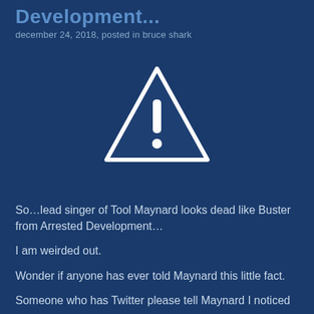Development...
december 24, 2018, posted in bruce shark
[Figure (illustration): Warning triangle icon with exclamation mark, white outline on dark blue background]
So…lead singer of Tool Maynard looks dead like Buster from Arrested Development…
I am weirded out.
Wonder if anyone has ever told Maynard this little fact.
Someone who has Twitter please tell Maynard I noticed